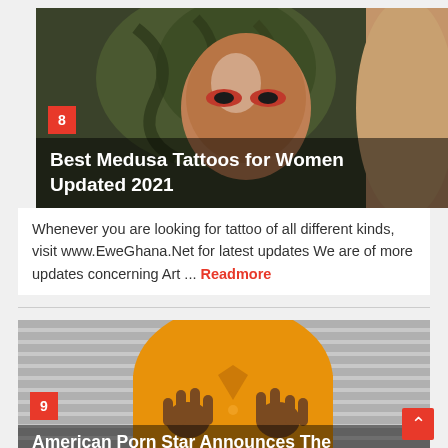[Figure (photo): A detailed Medusa tattoo with serpents and dramatic red eye makeup, shown on skin]
Best Medusa Tattoos for Women Updated 2021
Whenever you are looking for tattoo of all different kinds, visit www.EweGhana.Net for latest updates We are of more updates concerning Art ... Readmore
[Figure (photo): A man in an orange shirt making middle finger gestures, photographed against a striped background]
American Porn Star Announces The Reason Why He Retired ( 24 year old Man ) EweGhana.Net